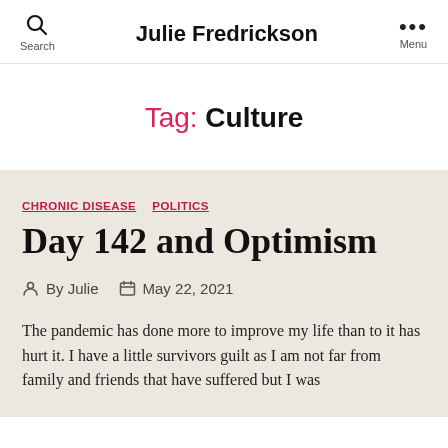Julie Fredrickson
Tag: Culture
CHRONIC DISEASE  POLITICS
Day 142 and Optimism
By Julie  May 22, 2021
The pandemic has done more to improve my life than to it has hurt it. I have a little survivors guilt as I am not far from family and friends that have suffered but I was